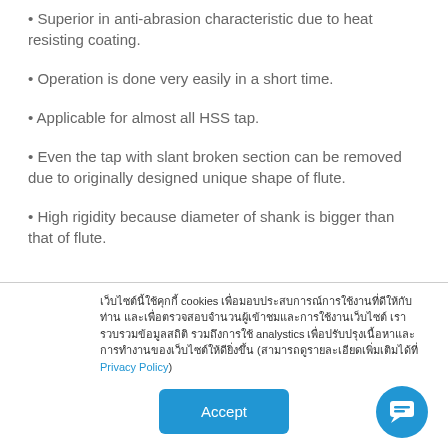Superior in anti-abrasion characteristic due to heat resisting coating.
Operation is done very easily in a short time.
Applicable for almost all HSS tap.
Even the tap with slant broken section can be removed due to originally designed unique shape of flute.
High rigidity because diameter of shank is bigger than that of flute.
เว็บไซต์นี้ใช้คุกกี้ cookies เพื่อมอบประสบการณ์การใช้งานที่ดีให้กับท่าน และเพื่อตรวจสอบจำนวนผู้เข้าชมและการใช้งานเว็บไซต์ เรารวบรวมข้อมูลสถิติ รวมถึงการใช้ analystics เพื่อปรับปรุงเนื้อหาและการทำงานของเว็บไซต์ให้ดียิ่งขึ้น (สามารถดูรายละเอียดเพิ่มเติมได้ที่ Privacy Policy)